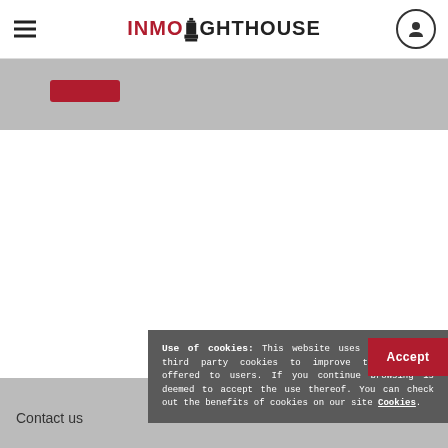INMOLIGHTHOUSE
[Figure (screenshot): Gray banner with a red button visible at top]
Use of cookies: This website uses its own and third party cookies to improve the services offered to users. If you continue browsing is deemed to accept the use thereof. You can check out the benefits of cookies on our site Cookies.
Accept
Contact us